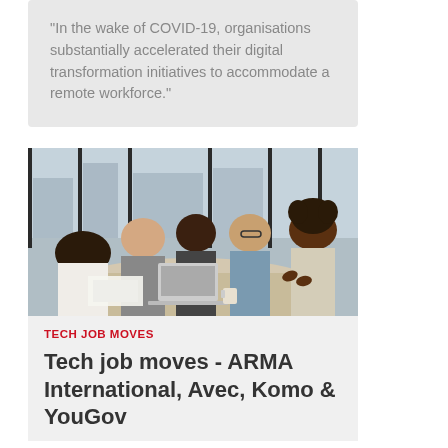“In the wake of COVID-19, organisations substantially accelerated their digital transformation initiatives to accommodate a remote workforce.”
[Figure (photo): Business meeting scene with five professionals sitting around a conference table with laptops, large windows in background]
TECH JOB MOVES
Tech job moves - ARMA International, Avec, Komo & YouGov